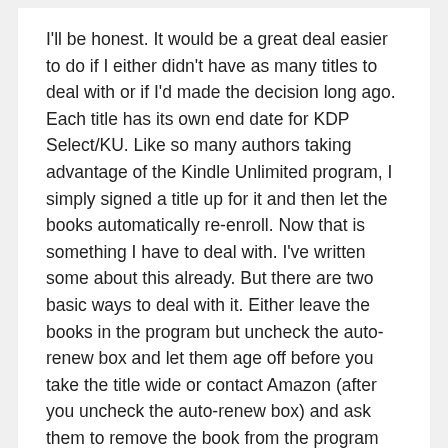I'll be honest. It would be a great deal easier to do if I either didn't have as many titles to deal with or if I'd made the decision long ago. Each title has its own end date for KDP Select/KU. Like so many authors taking advantage of the Kindle Unlimited program, I simply signed a title up for it and then let the books automatically re-enroll. Now that is something I have to deal with. I've written some about this already. But there are two basic ways to deal with it. Either leave the books in the program but uncheck the auto-renew box and let them age off before you take the title wide or contact Amazon (after you uncheck the auto-renew box) and ask them to remove the book from the program immediately. As I noted in a prior post, I do this via email so I have a paper